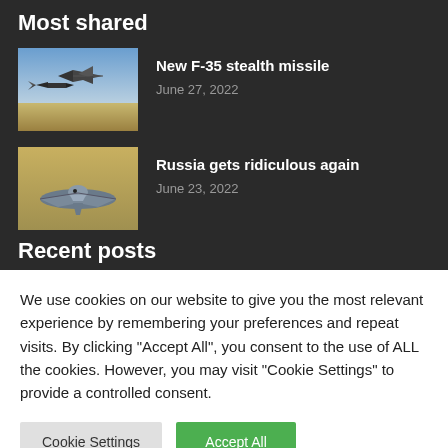Most shared
[Figure (photo): Fighter jet releasing a missile in flight, aerial view]
New F-35 stealth missile
June 27, 2022
[Figure (photo): Futuristic aircraft concept, bird-like shape on ground]
Russia gets ridiculous again
June 23, 2022
Recent posts
We use cookies on our website to give you the most relevant experience by remembering your preferences and repeat visits. By clicking "Accept All", you consent to the use of ALL the cookies. However, you may visit "Cookie Settings" to provide a controlled consent.
Cookie Settings
Accept All